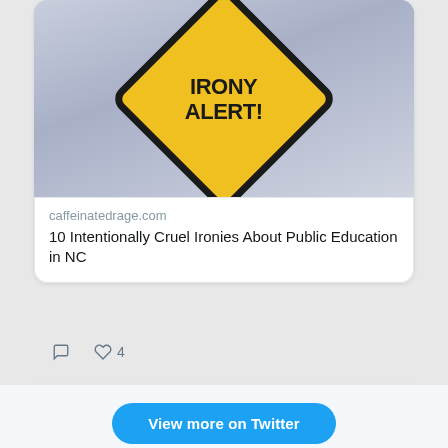[Figure (photo): Yellow diamond-shaped road sign with text 'IRONY ALERT!' in bold black letters on a cloudy sky background]
caffeinatedrage.com
10 Intentionally Cruel Ironies About Public Education in NC
4
View more on Twitter
Learn more about privacy on Twitter